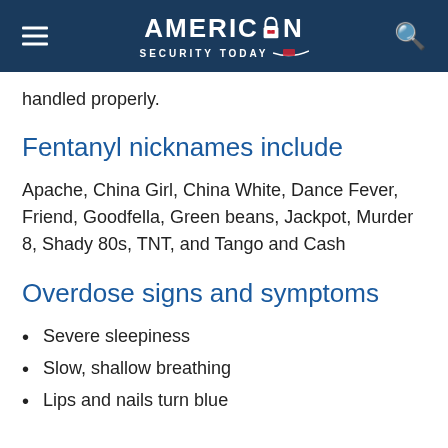AMERICAN SECURITY TODAY
handled properly.
Fentanyl nicknames include
Apache, China Girl, China White, Dance Fever, Friend, Goodfella, Green beans, Jackpot, Murder 8, Shady 80s, TNT, and Tango and Cash
Overdose signs and symptoms
Severe sleepiness
Slow, shallow breathing
Lips and nails turn blue